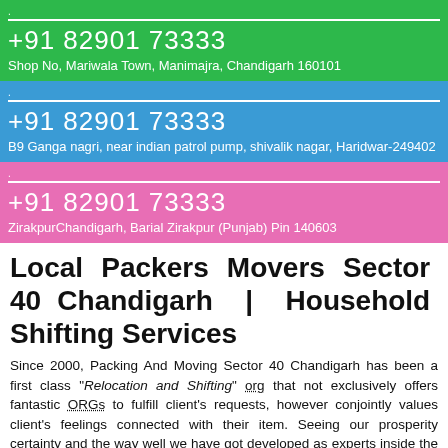. +91 82901 73333 Shop No, Mariwala Town, Manimajra, Chandigarh 160101
. +91 82901 73333 B9 Ganga nagri, near indian patrol pump, shivalik nagar, Haridwar-249402
. +91 82901 73333 ZirakpurChandigarh, Barial Zirakpur (Punjab) Pin 140603
Local Packers Movers Sector 40 Chandigarh | Household Shifting Services
Since 2000, Packing And Moving Sector 40 Chandigarh has been a first class "Relocation and Shifting" org that not exclusively offers fantastic ORGs to fulfill client's requests, however conjointly values client's feelings connected with their item. Seeing our prosperity certainty and the way well we have got developed as experts inside the "Moving And Relocation Services", we have got been